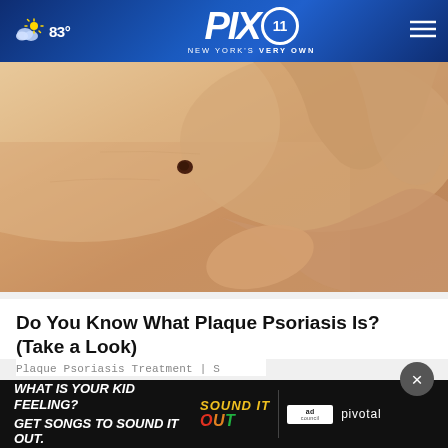PIX11 NEW YORK'S VERY OWN — 83°
[Figure (photo): Close-up photo of a person's skin with a mole/spot and a hand touching the area, related to plaque psoriasis article illustration]
Do You Know What Plaque Psoriasis Is? (Take a Look)
Plaque Psoriasis Treatment | S
[Figure (other): Advertisement banner: WHAT IS YOUR KID FEELING? GET SONGS TO SOUND IT OUT. — Sound It Out, Ad Council, Pivotal]